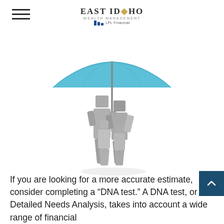East Idaho Wealth Management | LPL Financial
[Figure (illustration): 3D render of a family of four (two adults and two children) with block-like grey figures huddled together under a light blue umbrella, viewed from behind on a white background.]
If you are looking for a more accurate estimate, consider completing a “DNA test.” A DNA test, or Detailed Needs Analysis, takes into account a wide range of financial